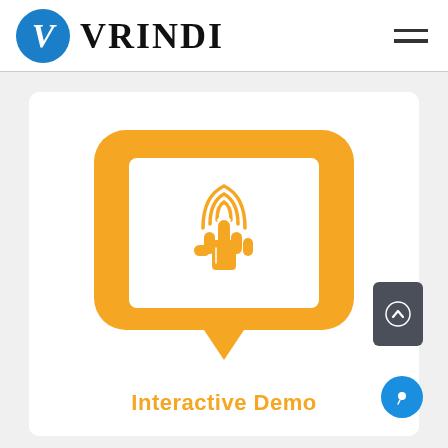VRINDI
[Figure (logo): Vrindi logo with blue circular V icon and bold uppercase serif text VRINDI]
[Figure (illustration): Orange rounded rectangle speech-bubble icon containing a white square with an orange hand/touch pointer icon with signal waves above finger. Below the bubble is an orange triangle pointer. Caption: Interactive Demo]
Interactive Demo